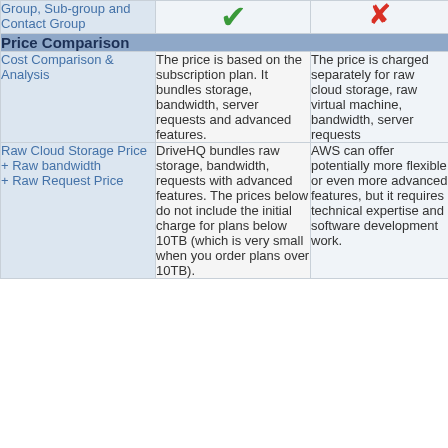| Group, Sub-group and Contact Group | ✓ | ✗ |
| --- | --- | --- |
| Cost Comparison & Analysis | The price is based on the subscription plan. It bundles storage, bandwidth, server requests and advanced features. | The price is charged separately for raw cloud storage, raw virtual machine, bandwidth, server requests |
| Raw Cloud Storage Price
+ Raw bandwidth
+ Raw Request Price | DriveHQ bundles raw storage, bandwidth, requests with advanced features. The prices below do not include the initial charge for plans below 10TB (which is very small when you order plans over 10TB). | AWS can offer potentially more flexible or even more advanced features, but it requires technical expertise and software development work. |